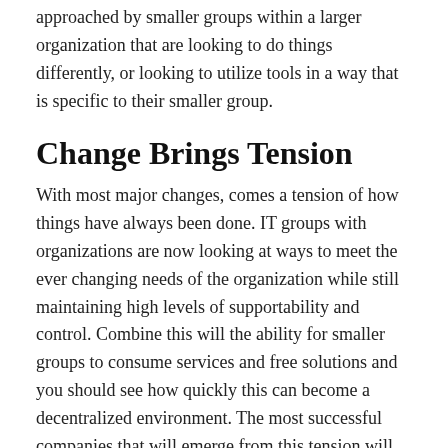approached by smaller groups within a larger organization that are looking to do things differently, or looking to utilize tools in a way that is specific to their smaller group.
Change Brings Tension
With most major changes, comes a tension of how things have always been done. IT groups with organizations are now looking at ways to meet the ever changing needs of the organization while still maintaining high levels of supportability and control. Combine this will the ability for smaller groups to consume services and free solutions and you should see how quickly this can become a decentralized environment. The most successful companies that will emerge from this tension will be the ones that can successfully find the balance between the two.